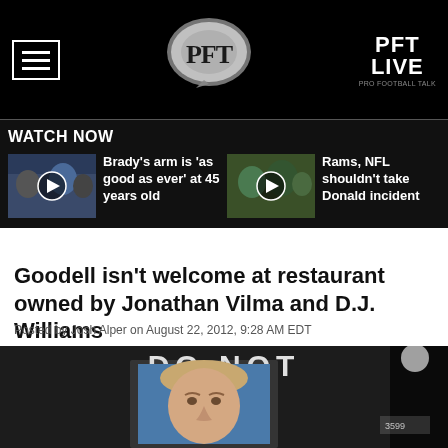PFT / PFT LIVE
WATCH NOW
Brady's arm is 'as good as ever' at 45 years old
Rams, NFL shouldn't take Donald incident
Goodell isn't welcome at restaurant owned by Jonathan Vilma and D.J. Williams
Posted by Josh Alper on August 22, 2012, 9:28 AM EDT
[Figure (photo): Photo of a man's face on a 'DO NOT' sign posted in a restaurant window]